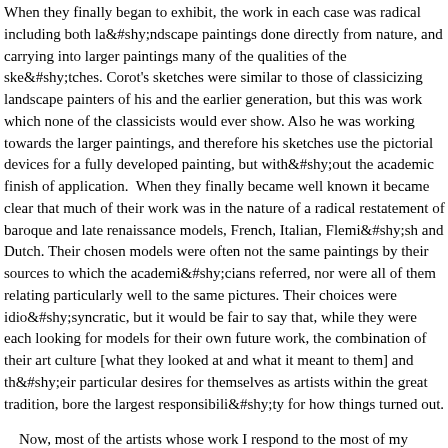When they finally began to exhibit, the work in each case was radical including both landscape paintings done directly from nature, and carrying into larger paintings many of the qualities of the sketches. Corot's sketches were similar to those of classicizing landscape painters of his and the earlier generation, but this was work which none of the classicists would ever show. Also he was working towards the larger paintings, and therefore his sketches use the pictorial devices for a fully developed painting, but without the academic finish of application. When they finally became well known it became clear that much of their work was in the nature of a radical restatement of baroque and late renaissance models, French, Italian, Flemish and Dutch. Their chosen models were often not the same paintings by their sources to which the academicians referred, nor were all of them relating particularly well to the same pictures. Their choices were idiosyncratic, but it would be fair to say that, while they were each looking for models for their own future work, the combination of their art culture [what they looked at and what it meant to them] and their particular desires for themselves as artists within the great tradition, bore the largest responsibility for how things turned out.

Now, most of the artists whose work I respond to the most of my generation and younger are post abstract painters. This is true of all of the Jane Street GAllery members [Kresch, Matthiasdotter, Rothschild]. It is also true of Larry Day, Natalie Charkow[a sculptor], little younger, Stanley Lewis, Richard Chiriani, Richard LaPresti, Stanley Friedman and [a sculptor]. It is also true of the members of the Midwest Paint Group and many of the Bowery GAllery, some of whom were students of Leland. What that means is that the